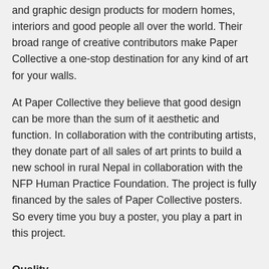and graphic design products for modern homes, interiors and good people all over the world. Their broad range of creative contributors make Paper Collective a one-stop destination for any kind of art for your walls.
At Paper Collective they believe that good design can be more than the sum of it aesthetic and function. In collaboration with the contributing artists, they donate part of all sales of art prints to build a new school in rural Nepal in collaboration with the NFP Human Practice Foundation. The project is fully financed by the sales of Paper Collective posters. So every time you buy a poster, you play a part in this project.
Quality
All prints are produced in Denmark using the highest quality FSC Certified sustainable papers. Photo prints